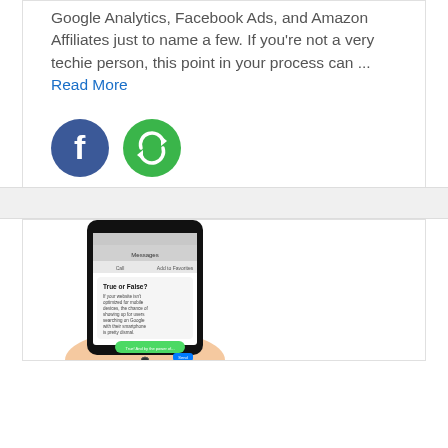Google Analytics, Facebook Ads, and Amazon Affiliates just to name a few. If you're not a very techie person, this point in your process can ...
Read More
[Figure (illustration): Facebook logo icon (blue circle with white F) and a green circle with a refresh/sync icon]
[Figure (photo): A hand holding a smartphone displaying a text message conversation with 'True or False?' quiz content]